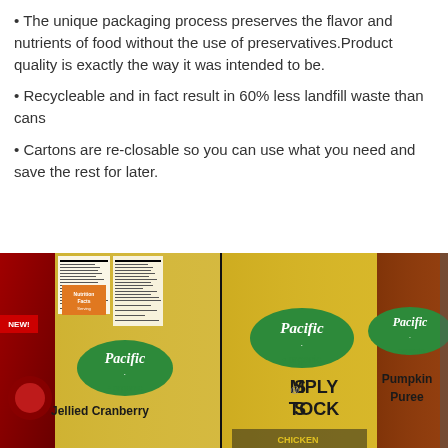• The unique packaging process preserves the flavor and nutrients of food without the use of preservatives.Product quality is exactly the way it was intended to be.
• Recycleable and in fact result in 60% less landfill waste than cans
• Cartons are re-closable so you can use what you need and save the rest for later.
[Figure (photo): Photo of Pacific organic product cartons including Jellied Cranberry, Simply Stock Chicken, and Pumpkin Puree products displayed side by side]